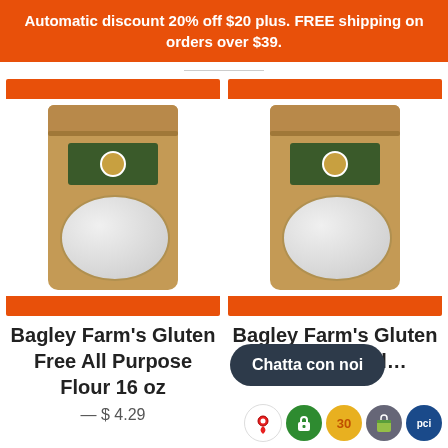Automatic discount 20% off $20 plus. FREE shipping on orders over $39.
[Figure (photo): Kraft paper bag product — Bagley Farm's Gluten Free All Purpose Flour 16 oz, with orange top/bottom bars]
Bagley Farm's Gluten Free All Purpose Flour 16 oz
— $ 4.29
[Figure (photo): Kraft paper bag product — Bagley Farm's Gluten Free 1 to 1 Flour, with orange top/bottom bars]
Bagley Farm's Gluten Free 1 to 1 Fl...
Chatta con noi